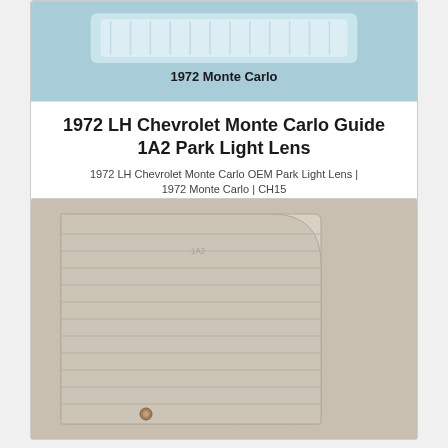[Figure (photo): Product photo of 1972 LH Chevrolet Monte Carlo Guide 1A2 Park Light Lens on blue background with label '1972 Monte Carlo']
1972 LH Chevrolet Monte Carlo Guide 1A2 Park Light Lens
1972 LH Chevrolet Monte Carlo OEM Park Light Lens | 1972 Monte Carlo | CH15
$39.95
[Figure (photo): Product photo of a clear/frosted rectangular park light lens with ribbed texture on a beige background]